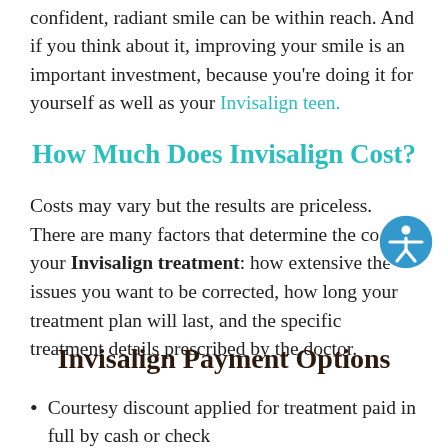confident, radiant smile can be within reach. And if you think about it, improving your smile is an important investment, because you're doing it for yourself as well as your Invisalign teen.
How Much Does Invisalign Cost?
Costs may vary but the results are priceless. There are many factors that determine the cost of your Invisalign treatment: how extensive the issues you want to be corrected, how long your treatment plan will last, and the specific treatment details prescribed by the doctor.
Invisalign Payment Options
Courtesy discount applied for treatment paid in full by cash or check